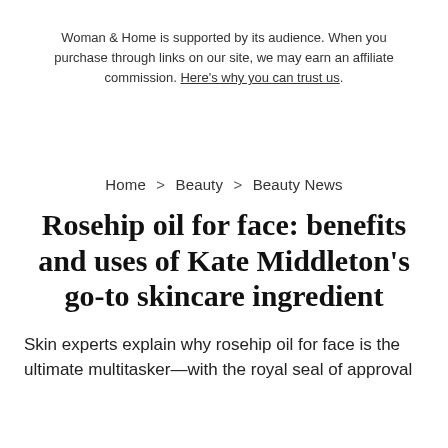Woman & Home is supported by its audience. When you purchase through links on our site, we may earn an affiliate commission. Here's why you can trust us.
Home > Beauty > Beauty News
Rosehip oil for face: benefits and uses of Kate Middleton's go-to skincare ingredient
Skin experts explain why rosehip oil for face is the ultimate multitasker—with the royal seal of approval